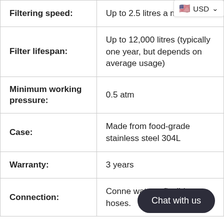| Filtering speed: | Up to 2.5 litres a minute |
| Filter lifespan: | Up to 12,000 litres (typically one year, but depends on average usage) |
| Minimum working pressure: | 0.5 atm |
| Case: | Made from food-grade stainless steel 304L |
| Warranty: | 3 years |
| Connection: | Connects to water pipes via flexible hoses. |